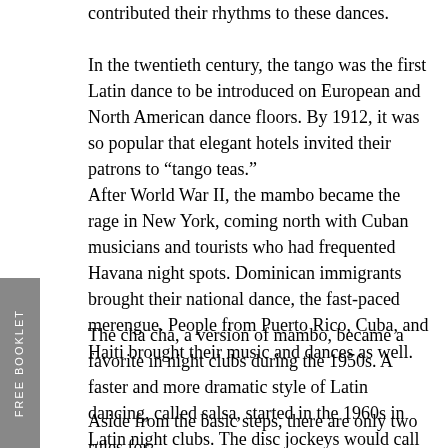contributed their rhythms to these dances.
In the twentieth century, the tango was the first Latin dance to be introduced on European and North American dance floors. By 1912, it was so popular that elegant hotels invited their patrons to “tango teas.”
After World War II, the mambo became the rage in New York, coming north with Cuban musicians and tourists who had frequented Havana night spots. Dominican immigrants brought their national dance, the fast-paced merengue. People from Puerto Rico, Cuba, and Haiti brought their music and dances as well.
The cha cha, a version of mambo, became a favorite in night clubs during the 1950s. A faster and more dramatic style of Latin dancing, called salsa, started in the 1960s in Latin night clubs. The disc jockeys would call out, “Salsa, salsa!” (“Spice it up!”)
Aside from the basic steps, there are only two rules for